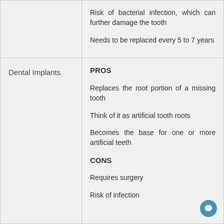|  |  |
| --- | --- |
|  | Risk of bacterial infection, which can further damage the tooth

Needs to be replaced every 5 to 7 years |
| Dental Implants | PROS

Replaces the root portion of a missing tooth

Think of it as artificial tooth roots

Becomes the base for one or more artificial teeth

CONS

Requires surgery

Risk of infection |